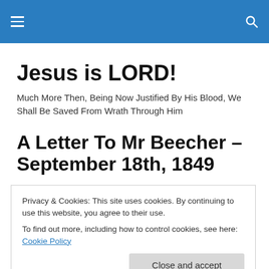Jesus is LORD!
Much More Then, Being Now Justified By His Blood, We Shall Be Saved From Wrath Through Him
A Letter To Mr Beecher – September 18th, 1849
Privacy & Cookies: This site uses cookies. By continuing to use this website, you agree to their use.
To find out more, including how to control cookies, see here: Cookie Policy
Close and accept